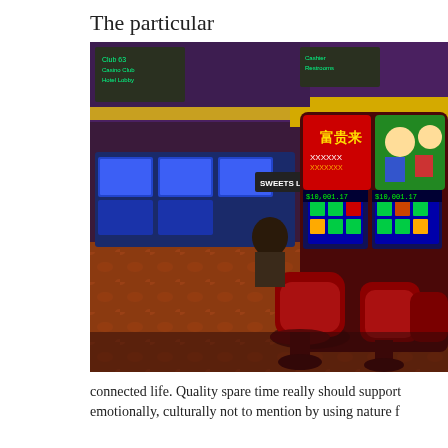The particular
[Figure (photo): Interior of a casino floor showing rows of colorful slot machines with bright LED screens displaying Chinese characters and animated characters, red chairs in front of machines, patterned carpet on the floor, and signs overhead including 'Club 63 Casino Club Hotel Lobby', 'Cashier Restrooms'. Vibrant purple and yellow ceiling lighting.]
connected life. Quality spare time really should support emotionally, culturally not to mention by using nature f